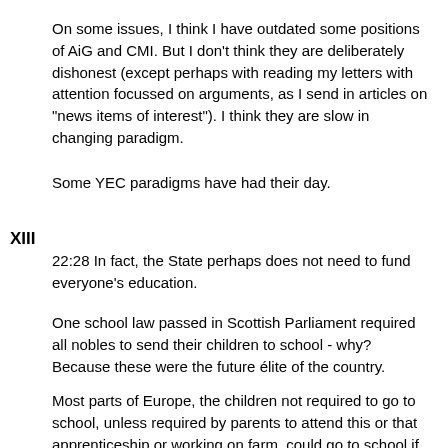On some issues, I think I have outdated some positions of AiG and CMI. But I don't think they are deliberately dishonest (except perhaps with reading my letters with attention focussed on arguments, as I send in articles on "news items of interest"). I think they are slow in changing paradigm.
Some YEC paradigms have had their day.
XIII
22:28 In fact, the State perhaps does not need to fund everyone's education.
One school law passed in Scottish Parliament required all nobles to send their children to school - why? Because these were the future élite of the country.
Most parts of Europe, the children not required to go to school, unless required by parents to attend this or that apprenticeship or working on farm, could go to school if they wanted to.